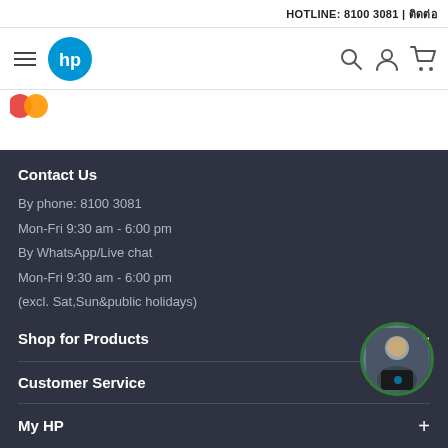HOTLINE: 8100 3081 | ติดต่อ
[Figure (logo): HP logo (blue circle with white HP letters), hamburger menu icon, search icon, user icon, cart icon in navigation bar]
[Figure (logo): Partial orange/red logo visible at top-left below nav]
Contact Us
By phone: 8100 3081
Mon-Fri 9:30 am - 6:00 pm
By WhatsApp/Live chat
Mon-Fri 9:30 am - 6:00 pm
(excl. Sat,Sun&public holidays)
Shop for Products
Customer Service
My HP